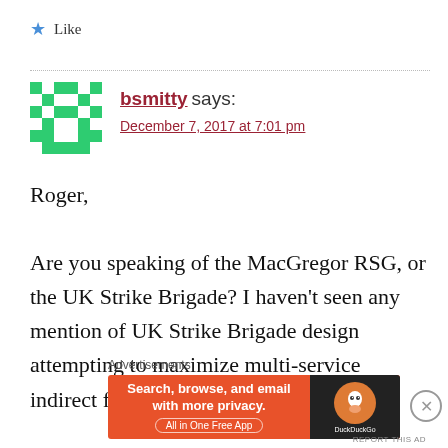★ Like
bsmitty says:
December 7, 2017 at 7:01 pm
Roger,

Are you speaking of the MacGregor RSG, or the UK Strike Brigade? I haven't seen any mention of UK Strike Brigade design attempting to maximize multi-service indirect fires. Sounds more like the RSG.
Advertisements
[Figure (screenshot): DuckDuckGo advertisement banner: orange background with text 'Search, browse, and email with more privacy. All in One Free App' and DuckDuckGo logo on dark right panel.]